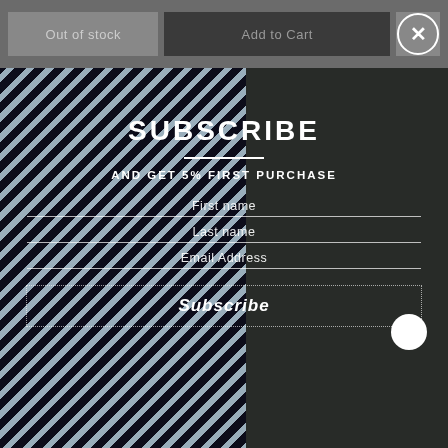[Figure (screenshot): E-commerce webpage screenshot showing 'Out of stock' button, 'Add to Cart' button, close button (X), and a subscription modal overlay on top of a product photo background showing a person wearing a black and white patterned shirt]
Out of stock
Add to Cart
SUBSCRIBE
AND GET 5% FIRST PURCHASE
First name
Last name
Email Address
Subscribe